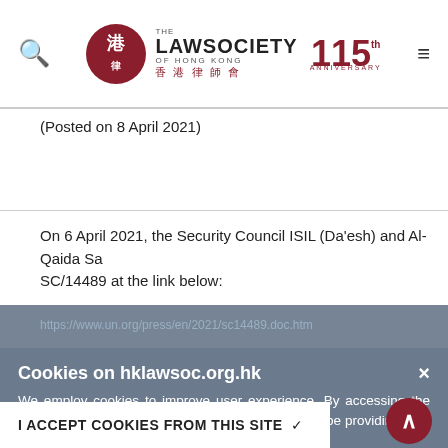[Figure (logo): Law Society of Hong Kong 115th Anniversary logo with red circular emblem, English and Chinese text, and 115th anniversary mark]
(Posted on 8 April 2021)
On 6 April 2021, the Security Council ISIL (Da'esh) and Al-Qaida Sa... SC/14489 at the link below:
https://www.un.org/press/en/2021/sc14489.doc.htm
The updated list of terrorists and terrorist associates published in...
https://www.gld.gov.hk/egazette/pdf/20212593e/egn20212593...
Cookies on hklawsoc.org.hk
We employ cookies to improve user experience. By accessing the website of The Law Society of Hong Kong, you will be providing your consent to our use of cookies.
I ACCEPT COOKIES FROM THIS SITE ✓